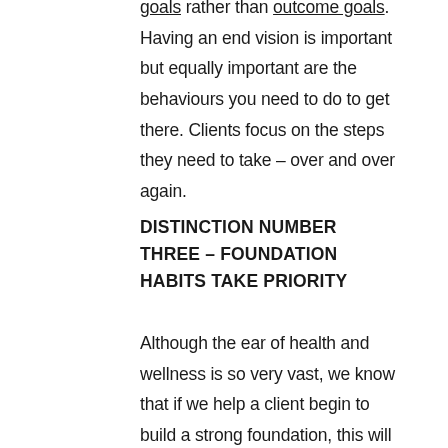goals rather than outcome goals. Having an end vision is important but equally important are the behaviours you need to do to get there. Clients focus on the steps they need to take – over and over again.
DISTINCTION NUMBER THREE – FOUNDATION HABITS TAKE PRIORITY
Although the ear of health and wellness is so very vast, we know that if we help a client begin to build a strong foundation, this will support them in the other changes they wish to make. And if these "foundation" habits aren't working well, this will often prevent the other changes from happening. Foundation habits include areas like sleep, exercise, nutrition, and personal organisation! Improvements in these areas can underpin much